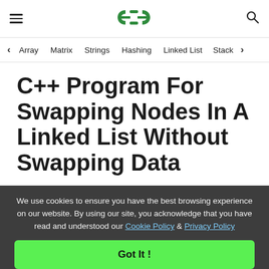GeeksforGeeks header with hamburger menu, logo, and search icon
< Array  Matrix  Strings  Hashing  Linked List  Stack >
C++ Program For Swapping Nodes In A Linked List Without Swapping Data
We use cookies to ensure you have the best browsing experience on our website. By using our site, you acknowledge that you have read and understood our Cookie Policy & Privacy Policy
Got It !